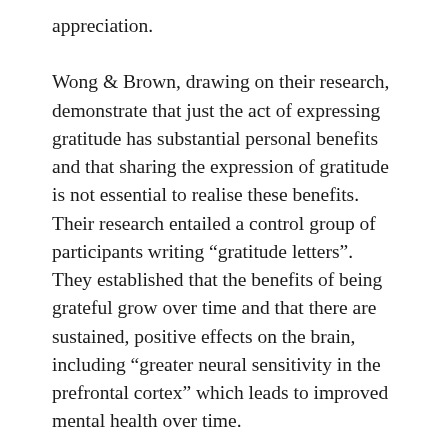appreciation.
Wong & Brown, drawing on their research, demonstrate that just the act of expressing gratitude has substantial personal benefits and that sharing the expression of gratitude is not essential to realise these benefits.  Their research entailed a control group of participants writing “gratitude letters”.  They established that the benefits of being grateful grow over time and that there are sustained, positive effects on the brain, including “greater neural sensitivity in the prefrontal cortex” which leads to improved mental health over time.